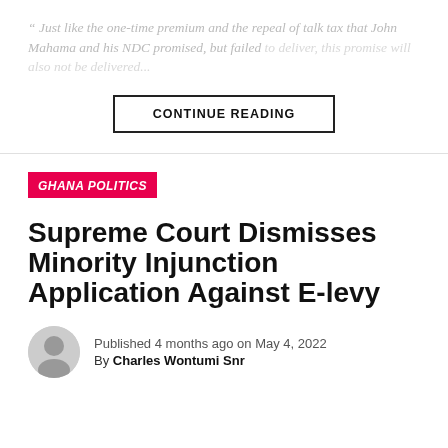“ Just like the one-time premium and the repeal of talk tax that John Mahama and his NDC promised, but failed to deliver, this promise will also not be delivered...
CONTINUE READING
GHANA POLITICS
Supreme Court Dismisses Minority Injunction Application Against E-levy
Published 4 months ago on May 4, 2022
By Charles Wontumi Snr